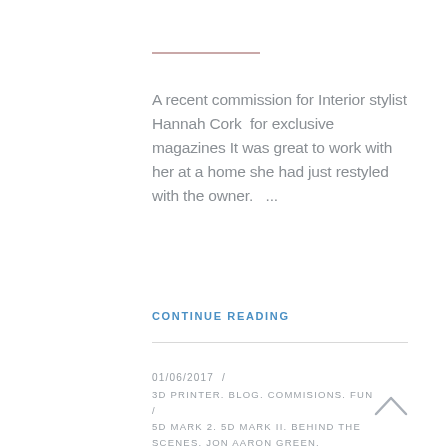A recent commission for Interior stylist Hannah Cork  for exclusive magazines It was great to work with her at a home she had just restyled with the owner.   ...
CONTINUE READING
01/06/2017  /  3D PRINTER. BLOG. COMMISIONS. FUN  /  5D MARK 2. 5D MARK II. BEHIND THE SCENES. JON AARON GREEN. JONAARONGREEN. JONAARONGREEN.COM. JONATHAN